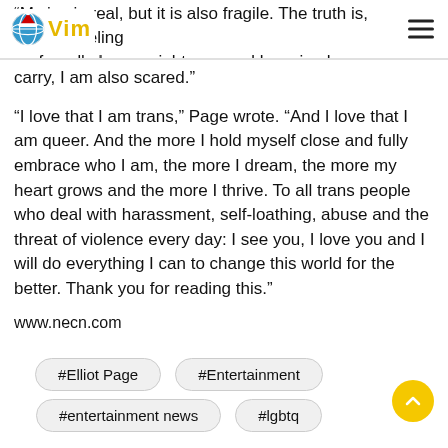Vim (logo)
“My joy is real, but it is also fragile. The truth is, despite feeling profoundly happy right now and knowing how much privilege I carry, I am also scared.”
“I love that I am trans,” Page wrote. “And I love that I am queer. And the more I hold myself close and fully embrace who I am, the more I dream, the more my heart grows and the more I thrive. To all trans people who deal with harassment, self-loathing, abuse and the threat of violence every day: I see you, I love you and I will do everything I can to change this world for the better. Thank you for reading this.”
www.necn.com
#Elliot Page
#Entertainment
#entertainment news
#lgbtq